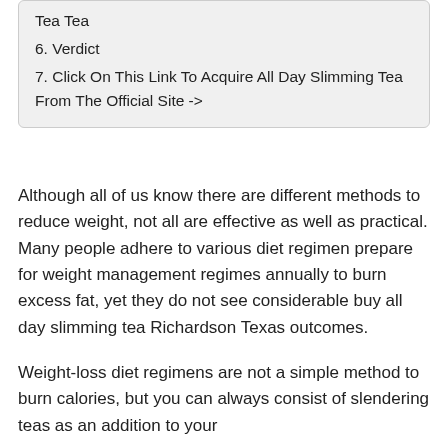Tea Tea
6. Verdict
7. Click On This Link To Acquire All Day Slimming Tea From The Official Site ->
Although all of us know there are different methods to reduce weight, not all are effective as well as practical. Many people adhere to various diet regimen prepare for weight management regimes annually to burn excess fat, yet they do not see considerable buy all day slimming tea Richardson Texas outcomes.
Weight-loss diet regimens are not a simple method to burn calories, but you can always consist of slendering teas as an addition to your